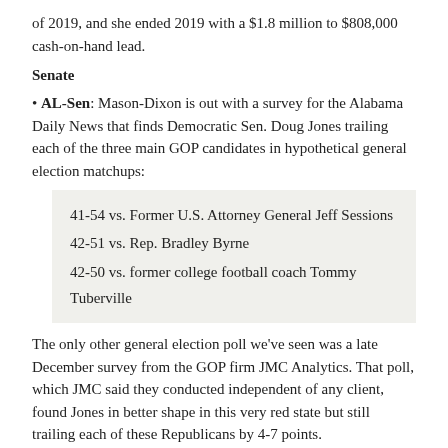of 2019, and she ended 2019 with a $1.8 million to $808,000 cash-on-hand lead.
Senate
AL-Sen: Mason-Dixon is out with a survey for the Alabama Daily News that finds Democratic Sen. Doug Jones trailing each of the three main GOP candidates in hypothetical general election matchups:
41-54 vs. Former U.S. Attorney General Jeff Sessions
42-51 vs. Rep. Bradley Byrne
42-50 vs. former college football coach Tommy Tuberville
The only other general election poll we've seen was a late December survey from the GOP firm JMC Analytics. That poll, which JMC said they conducted independent of any client, found Jones in better shape in this very red state but still trailing each of these Republicans by 4-7 points.
Campaign Action